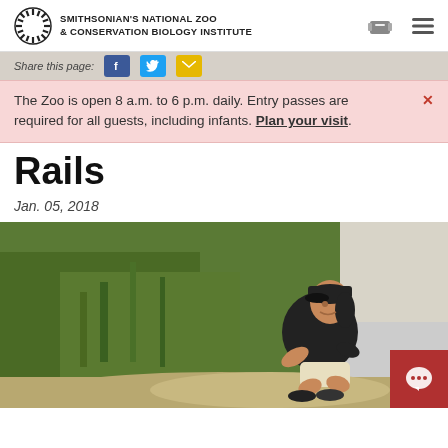SMITHSONIAN'S NATIONAL ZOO & CONSERVATION BIOLOGY INSTITUTE
Share this page:
The Zoo is open 8 a.m. to 6 p.m. daily. Entry passes are required for all guests, including infants. Plan your visit.
Rails
Jan. 05, 2018
[Figure (photo): A woman in a black polo shirt and black cap crouches near sandy ground with green vegetation behind her, smiling at the camera.]